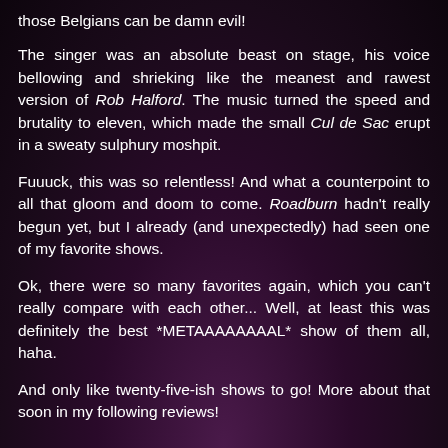those Belgians can be damn evil!
The singer was an absolute beast on stage, his voice bellowing and shrieking like the meanest and rawest version of Rob Halford. The music turned the speed and brutality to eleven, which made the small Cul de Sac erupt in a sweaty sulphury moshpit.
Fuuuck, this was so relentless! And what a counterpoint to all that gloom and doom to come. Roadburn hadn't really begun yet, but I already (and unexpectedly) had seen one of my favorite shows.
Ok, there were so many favorites again, which you can't really compare with each other... Well, at least this was definitely the best *METAAAAAAAAL* show of them all, haha.
And only like twenty-five-ish shows to go! More about that soon in my following reviews!